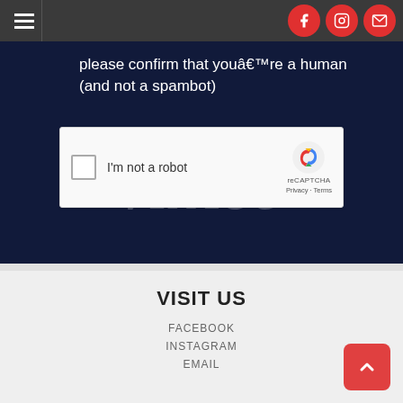Navigation bar with hamburger menu and social icons (Facebook, Instagram, Email)
please confirm that youâ€™re a human (and not a spambot)
[Figure (screenshot): reCAPTCHA widget with checkbox labeled I'm not a robot and reCAPTCHA logo with Privacy and Terms links]
[Figure (logo): Vimeo logo watermark in large italic text]
VISIT US
FACEBOOK
INSTAGRAM
EMAIL